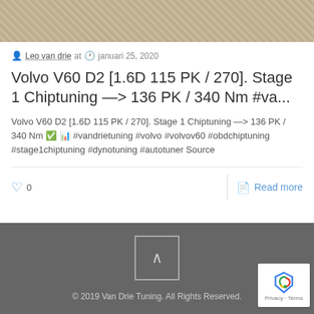[Figure (photo): Top portion of a metallic mesh or diamond-plate surface photo]
Leo van drie at  januari 25, 2020
Volvo V60 D2 [1.6D 115 PK / 270]. Stage 1 Chiptuning —> 136 PK / 340 Nm #va...
Volvo V60 D2 [1.6D 115 PK / 270]. Stage 1 Chiptuning —> 136 PK / 340 Nm ✅ 📈 #vandrietuning #volvo #volvov60 #obdchiptuning #stage1chiptuning #dynotuning #autotuner
Source
0  Read more
© 2019 Van Drie Tuning. All Rights Reserved.